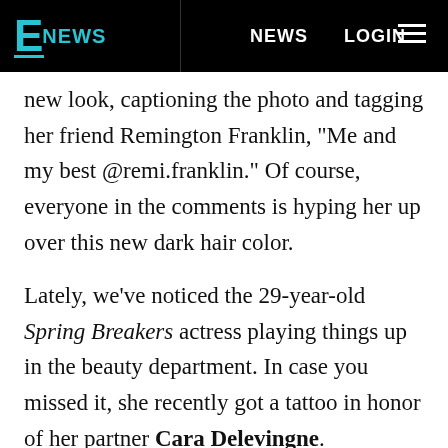E NEWS | NEWS | LOGIN
new look, captioning the photo and tagging her friend Remington Franklin, "Me and my best @remi.franklin." Of course, everyone in the comments is hyping her up over this new dark hair color.
Lately, we've noticed the 29-year-old Spring Breakers actress playing things up in the beauty department. In case you missed it, she recently got a tattoo in honor of her partner Cara Delevingne.
Earlier this summer, Benson revealed her a tattoo dedicated to the British model and actress in a